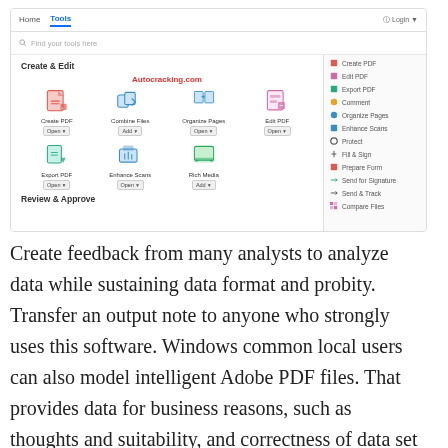[Figure (screenshot): Adobe Acrobat Tools panel screenshot showing Create & Edit section with tool icons: Create PDF, Combine Files, Organize Pages, Edit PDF, Export PDF, Enhance Scans, Rich Media. A 'Review & Approve' section header is also visible. A right sidebar lists: Create PDF, Edit PDF, Export PDF, Comment, Organize Pages, Enhance Scans, Protect, Fill & Sign, Prepare Form, Send for Signature, Send & Track, Compare Files. Watermark text 'Autocracking.com' in red appears on the page.]
Create feedback from many analysts to analyze data while sustaining data format and probity. Transfer an output note to anyone who strongly uses this software. Windows common local users can also model intelligent Adobe PDF files. That provides data for business reasons, such as thoughts and suitability, and correctness of data set